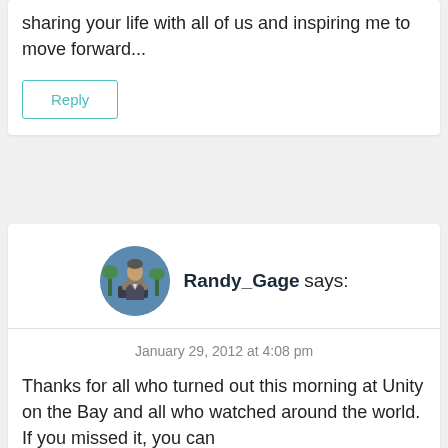[Figure (other): Hamburger menu icon (three horizontal lines) in top right corner]
sharing your life with all of us and inspiring me to move forward...
Reply
[Figure (photo): Circular avatar photo of Randy_Gage, a man in a suit standing outdoors with palm trees]
Randy_Gage says:
January 29, 2012 at 4:08 pm
Thanks for all who turned out this morning at Unity on the Bay and all who watched around the world. If you missed it, you can